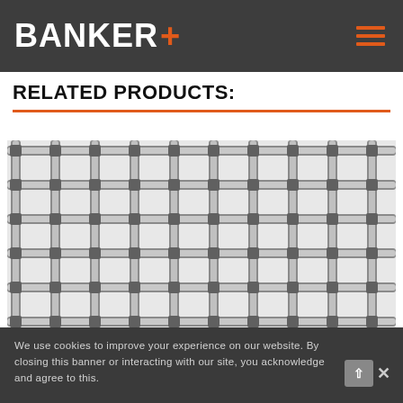BANKER+
RELATED PRODUCTS:
[Figure (photo): Close-up photograph of a geogrid or mesh material showing intersecting grey/silver woven strands forming a regular grid pattern with square openings]
We use cookies to improve your experience on our website. By closing this banner or interacting with our site, you acknowledge and agree to this.